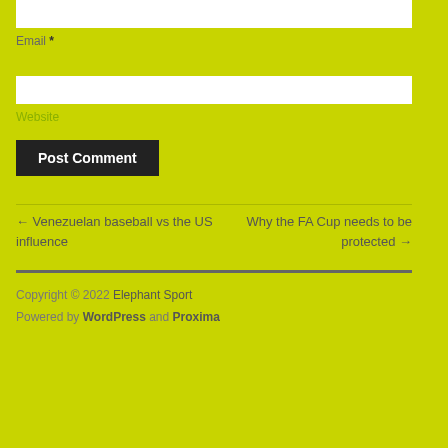Email *
Website
Post Comment
← Venezuelan baseball vs the US influence
Why the FA Cup needs to be protected →
Copyright © 2022 Elephant Sport
Powered by WordPress and Proxima